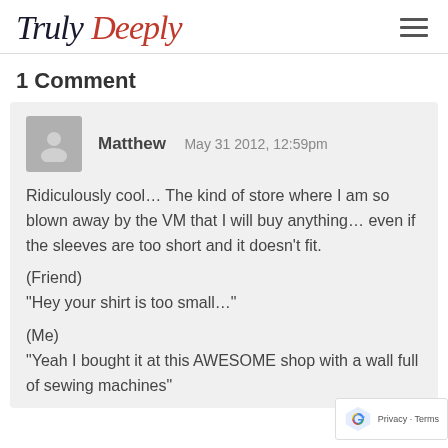Truly Deeply
1 Comment
Matthew  May 31 2012, 12:59pm

Ridiculously cool… The kind of store where I am so blown away by the VM that I will buy anything… even if the sleeves are too short and it doesn't fit.

(Friend)
"Hey your shirt is too small…"

(Me)
"Yeah I bought it at this AWESOME shop with a wall full of sewing machines"